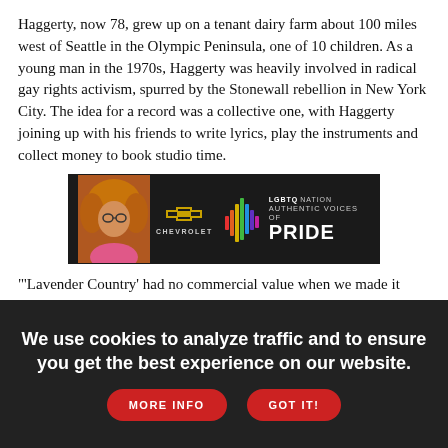Haggerty, now 78, grew up on a tenant dairy farm about 100 miles west of Seattle in the Olympic Peninsula, one of 10 children. As a young man in the 1970s, Haggerty was heavily involved in radical gay rights activism, spurred by the Stonewall rebellion in New York City. The idea for a record was a collective one, with Haggerty joining up with his friends to write lyrics, play the instruments and collect money to book studio time.
[Figure (other): Advertisement banner for Chevrolet and LGBTQ Nation Authentic Voices of Pride, featuring a person with large curly hair on the left, Chevrolet bowtie logo, colorful audio waveform bars, and text 'LGBTQ NATION AUTHENTIC VOICES OF PRIDE']
'Lavender Country' had no commercial value when we made it because it was too outlandish. But it was really too outlandish for any genre," said Haggerty. "So we didn't have any choice except to make it ourselves and the community of folks who were doing Stonewall rebellion stuff in Seattle."
The self-titled album "Lavender Country" had little initial impact outside of the Seattle gay community. It sold about 1,000 copies...
We use cookies to analyze traffic and to ensure you get the best experience on our website.